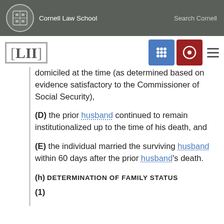Cornell Law School   Search Cornell
[Figure (logo): LII Legal Information Institute logo with navigation icons]
domiciled at the time (as determined based on evidence satisfactory to the Commissioner of Social Security),
(D) the prior husband continued to remain institutionalized up to the time of his death, and
(E) the individual married the surviving husband within 60 days after the prior husband's death.
(h) Determination of family status
(1)